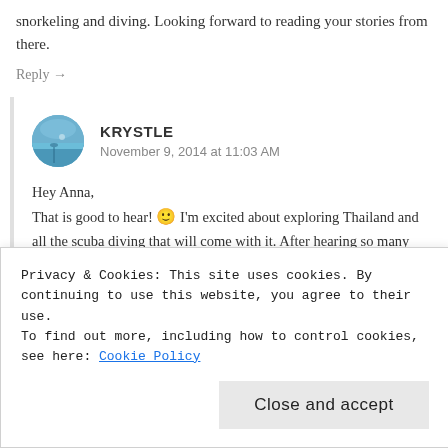snorkeling and diving. Looking forward to reading your stories from there.
Reply →
KRYSTLE
November 9, 2014 at 11:03 AM
Hey Anna,
That is good to hear! 🙂 I'm excited about exploring Thailand and all the scuba diving that will come with it. After hearing so many great things about Greece and Italy I'm hoping to visit sooner rather than later. Keeping my fingers crossed! Thanks for stopping by.
Privacy & Cookies: This site uses cookies. By continuing to use this website, you agree to their use.
To find out more, including how to control cookies, see here: Cookie Policy
Close and accept